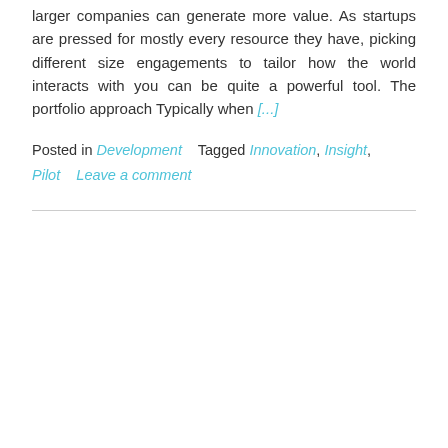larger companies can generate more value. As startups are pressed for mostly every resource they have, picking different size engagements to tailor how the world interacts with you can be quite a powerful tool. The portfolio approach Typically when [...]
Posted in Development    Tagged Innovation, Insight, Pilot    Leave a comment